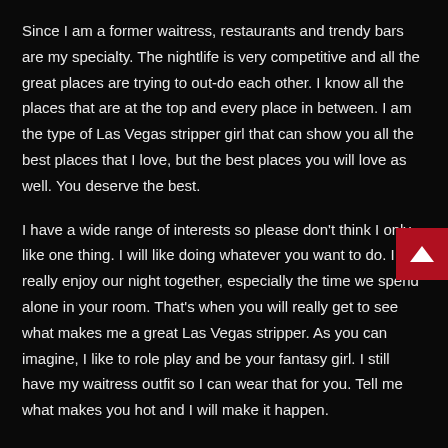Since I am a former waitress, restaurants and trendy bars are my specialty. The nightlife is very competitive and all the great places are trying to out-do each other. I know all the places that are at the top and every place in between. I am the type of Las Vegas stripper girl that can show you all the best places that I love, but the best places you will love as well. You deserve the best.
I have a wide range of interests so please don't think I only like one thing. I will like doing whatever you want to do. I will really enjoy our night together, especially the time we spend alone in your room. That's when you will really get to see what makes me a great Las Vegas stripper. As you can imagine, I like to role play and be your fantasy girl. I still have my waitress outfit so I can wear that for you. Tell me what makes you hot and I will make it happen.